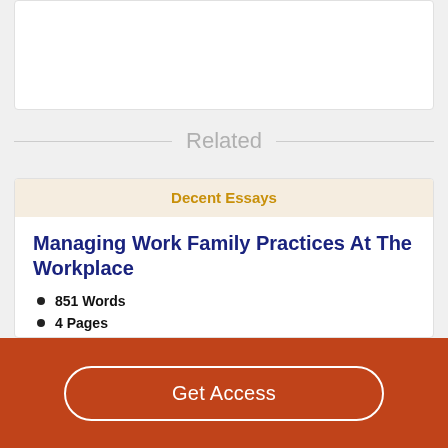[Figure (other): White content card placeholder at top of page]
Related
Decent Essays
Managing Work Family Practices At The Workplace
851 Words
4 Pages
3.0 Managing work-family practices at the workplace 3.1
Get Access